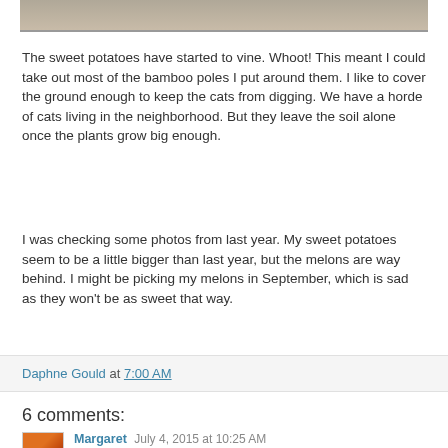[Figure (photo): Partial top edge of a garden photo showing stones and soil]
The sweet potatoes have started to vine. Whoot! This meant I could take out most of the bamboo poles I put around them. I like to cover the ground enough to keep the cats from digging. We have a horde of cats living in the neighborhood. But they leave the soil alone once the plants grow big enough.
I was checking some photos from last year. My sweet potatoes seem to be a little bigger than last year, but the melons are way behind. I might be picking my melons in September, which is sad as they won't be as sweet that way.
Daphne Gould at 7:00 AM
6 comments:
Margaret July 4, 2015 at 10:25 AM
Your last corn succession looks just like mine - well, those